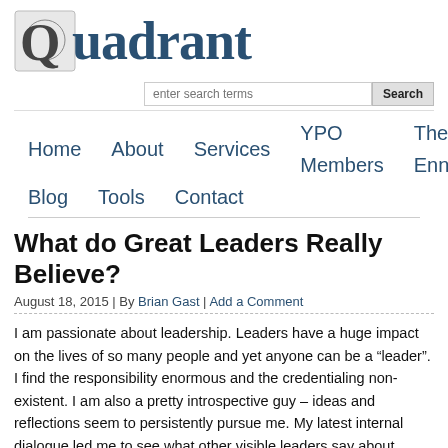[Figure (logo): Quadrant website logo with stylized Q graphic and 'Quadrant' text in dark teal serif font]
enter search terms | Search
Home  About  Services  YPO Members  The Enneagram  Blog  Tools  Contact
What do Great Leaders Really Believe?
August 18, 2015 | By Brian Gast | Add a Comment
I am passionate about leadership. Leaders have a huge impact on the lives of so many people and yet anyone can be a “leader”. I find the responsibility enormous and the credentialing non-existent. I am also a pretty introspective guy – ideas and reflections seem to persistently pursue me. My latest internal dialogue led me to see what other visible leaders say about leadership.
As you read these quotations, consider if you could have said this or what part